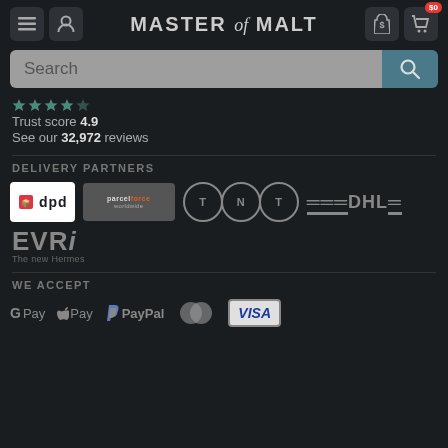MASTER of MALT — navigation header with menu, account, currency ($), and cart ($0) icons
Search
Trust score 4.9
See our 32,972 reviews
DELIVERY PARTNERS
[Figure (logo): Delivery partner logos: dpd, Parcelforce worldwide, TNT, DHL, EVRi The new Hermes]
WE ACCEPT
[Figure (logo): Payment method logos: G Pay, Apple Pay, PayPal, Mastercard, VISA]